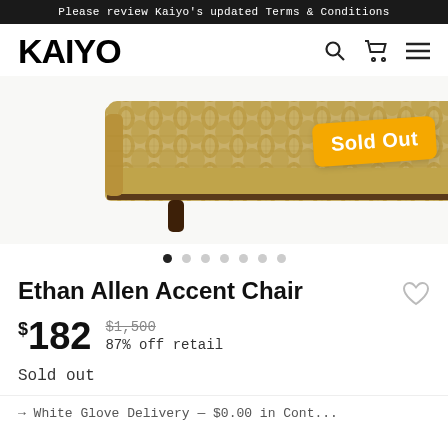Please review Kaiyo's updated Terms & Conditions
[Figure (logo): Kaiyo logo in bold black uppercase letters with search, cart, and hamburger menu icons]
[Figure (photo): Ethan Allen Accent Chair upholstered in a geometric gold/beige/grey pattern fabric, with dark wood legs, shown from front. Overlaid with orange 'Sold Out' badge.]
Ethan Allen Accent Chair
$182  $1,500  87% off retail
Sold out
→ White Glove Delivery — $0.00 in Cont...